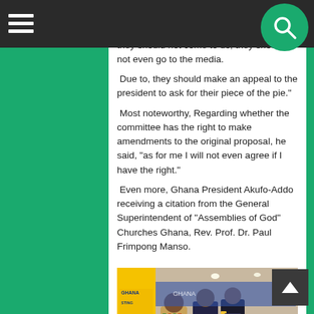Navigation bar with hamburger menu and search icon
the reason that, Reverend Frimpong said that the Muslims think they have a case they should not come to us, they should not even go to the media.
Due to, they should make an appeal to the president to ask for their piece of the pie."
Most noteworthy, Regarding whether the committee has the right to make amendments to the original proposal, he said, “as for me I will not even agree if I have the right.”
Even more, Ghana President Akufo-Addo receiving a citation from the General Superintendent of "Assemblies of God" Churches Ghana, Rev. Prof. Dr. Paul Frimpong Manso.
[Figure (photo): Ghana President Akufo-Addo receiving a citation from the General Superintendent of Assemblies of God Churches Ghana, Rev. Prof. Dr. Paul Frimpong Manso. Three men in formal attire standing at a podium with a yellow Ghana banner visible on the left. Watermark: ACCRA24.COM]